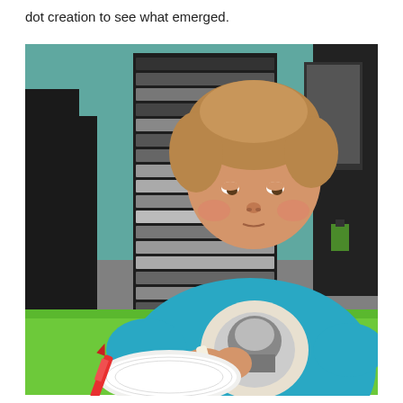dot creation to see what emerged.
[Figure (photo): A young boy wearing a teal/blue t-shirt with a graphic design sits at a table covered with a bright green tablecloth. He is focused on holding a white marker or crayon, working on a paper plate in front of him. In the background is a tall black multi-drawer storage unit filled with colorful supplies, and another person in a dark shirt is partially visible to the left. The room has teal-colored walls.]